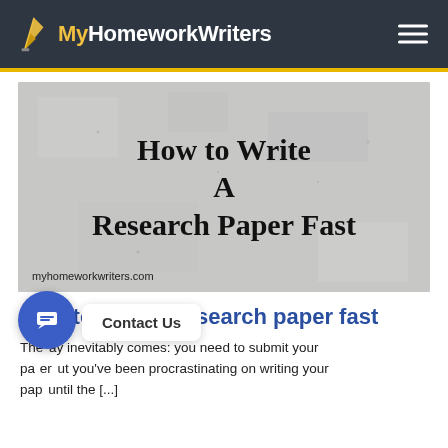MyHomeworkWriters
[Figure (illustration): Hero banner with stone/concrete texture background showing title text 'How to Write A Research Paper Fast' and URL myhomeworkwriters.com]
How to write a research paper fast
The day inevitably comes: you need to submit your paper but you've been procrastinating on writing your paper until the [...]
Contact Us